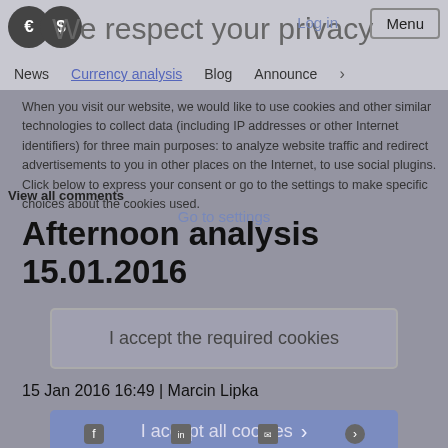€$ Log in Menu
We respect your privacy
News  Currency analysis  Blog  Announce  >
When you visit our website, we would like to use cookies and other similar technologies to collect data (including IP addresses or other Internet identifiers) for three main purposes: to analyze website traffic and redirect advertisements to you in other places on the Internet, to use social plugins. Click below to express your consent or go to the settings to make specific choices about the cookies used.
View all comments
Go to settings
Afternoon analysis 15.01.2016
I accept the required cookies
15 Jan 2016 16:49 | Marcin Lipka
I accept all cookies >